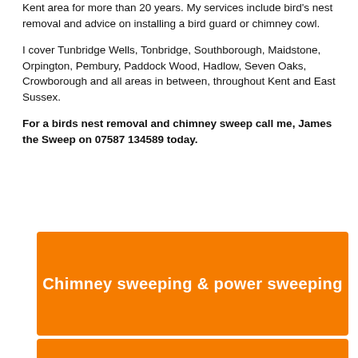Kent area for more than 20 years. My services include bird's nest removal and advice on installing a bird guard or chimney cowl.

I cover Tunbridge Wells, Tonbridge, Southborough, Maidstone, Orpington, Pembury, Paddock Wood, Hadlow, Seven Oaks, Crowborough and all areas in between, throughout Kent and East Sussex.

For a birds nest removal and chimney sweep call me, James the Sweep on 07587 134589 today.
[Figure (other): Orange banner with white bold text reading 'Chimney sweeping & power sweeping']
[Figure (other): Partial orange banner at the bottom of the page]